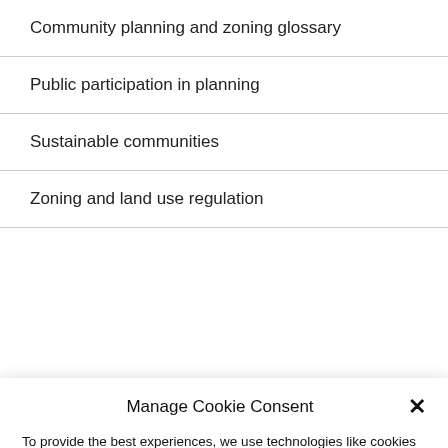Community planning and zoning glossary
Public participation in planning
Sustainable communities
Zoning and land use regulation
Manage Cookie Consent
To provide the best experiences, we use technologies like cookies to store and/or access device information. Consenting to these technologies will allow us to process data such as browsing behavior or unique IDs on this site. Not consenting or withdrawing consent, may adversely affect certain features and functions.
Accept
Cookie Policy  Privacy Statement